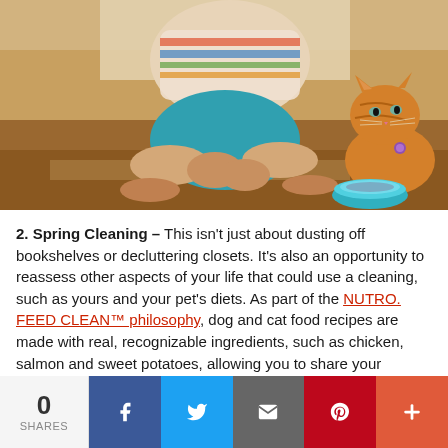[Figure (photo): Child sitting cross-legged on wooden floor feeding an orange cat from a teal bowl]
2. Spring Cleaning – This isn't just about dusting off bookshelves or decluttering closets. It's also an opportunity to reassess other aspects of your life that could use a cleaning, such as yours and your pet's diets. As part of the NUTRO. FEED CLEAN™ philosophy, dog and cat food recipes are made with real, recognizable ingredients, such as chicken, salmon and sweet potatoes, allowing you to share your healthy eating lifestyle with your pet.
[Figure (photo): Partial photo at bottom, blurred dark tones]
0 SHARES
[Figure (infographic): Social sharing bar with Facebook, Twitter, Email, Pinterest, and More buttons]